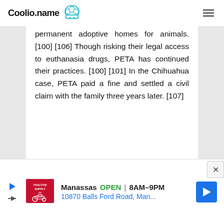Coolio.name
permanent adoptive homes for animals. [100] [106] Though risking their legal access to euthanasia drugs, PETA has continued their practices. [100] [101] In the Chihuahua case, PETA paid a fine and settled a civil claim with the family three years later. [107]
[Figure (infographic): Advertisement banner for Tractor Supply Co showing Manassas store OPEN 8AM-9PM at 10870 Balls Ford Road, Man...]